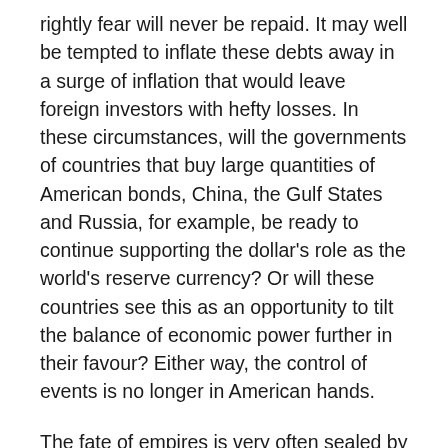rightly fear will never be repaid. It may well be tempted to inflate these debts away in a surge of inflation that would leave foreign investors with hefty losses. In these circumstances, will the governments of countries that buy large quantities of American bonds, China, the Gulf States and Russia, for example, be ready to continue supporting the dollar's role as the world's reserve currency? Or will these countries see this as an opportunity to tilt the balance of economic power further in their favour? Either way, the control of events is no longer in American hands.
The fate of empires is very often sealed by the interaction of war and debt. That was true of the British Empire, whose finances deteriorated from the First World War onwards, and of the Soviet Union. Defeat in Afghanistan and the economic burden of trying to respond to Reagan's technically flawed but politically extremely effective Star